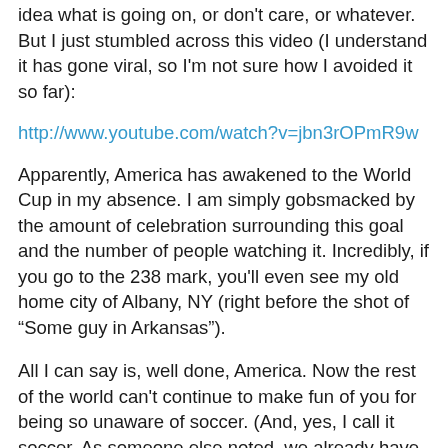idea what is going on, or don't care, or whatever. But I just stumbled across this video (I understand it has gone viral, so I'm not sure how I avoided it so far):
http://www.youtube.com/watch?v=jbn3rOPmR9w
Apparently, America has awakened to the World Cup in my absence. I am simply gobsmacked by the amount of celebration surrounding this goal and the number of people watching it. Incredibly, if you go to the 238 mark, you'll even see my old home city of Albany, NY (right before the shot of “Some guy in Arkansas”).
All I can say is, well done, America. Now the rest of the world can't continue to make fun of you for being so unaware of soccer. (And, yes, I call it soccer. As someone else noted, we already have a wildly popular game called football, so we have to call it soccer, like the English used to, in order to keep from being confused. Deal with it.)
Watching this video, in addition to amazing me, makes me sorry I was on a train from Groonwich (that's GREN-ich) to